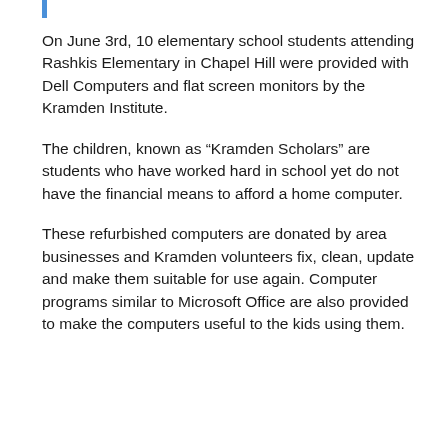On June 3rd, 10 elementary school students attending Rashkis Elementary in Chapel Hill were provided with Dell Computers and flat screen monitors by the Kramden Institute.
The children, known as “Kramden Scholars” are students who have worked hard in school yet do not have the financial means to afford a home computer.
These refurbished computers are donated by area businesses and Kramden volunteers fix, clean, update and make them suitable for use again. Computer programs similar to Microsoft Office are also provided to make the computers useful to the kids using them.